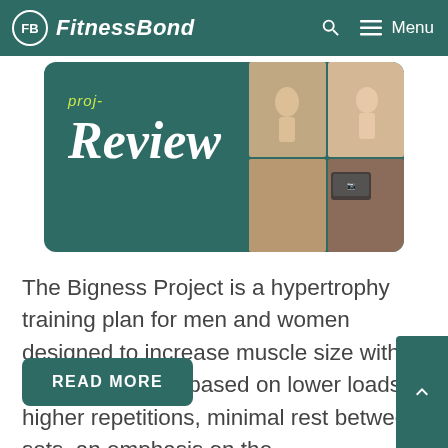FitnessBond
[Figure (screenshot): Review banner image with teal/dark green background showing 'proj-' text in yellow-green and 'Review' in large white italic text, with a collage of fitness images on the right side]
The Bigness Project is a hypertrophy training plan for men and women designed to increase muscle size with a workout method based on lower loads, higher repetitions, minimal rest between sets, an emphasis on the …
READ MORE